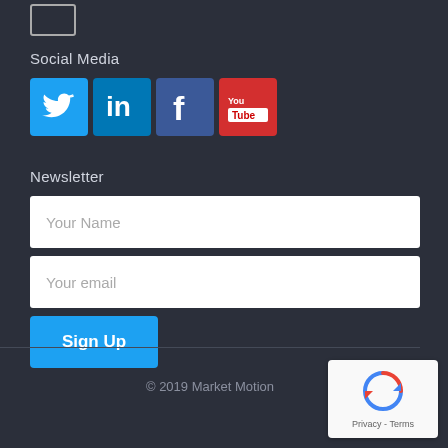[Figure (other): Small rectangle icon (checkbox/button outline) at top left]
Social Media
[Figure (other): Four social media icons: Twitter (blue bird), LinkedIn (teal), Facebook (dark blue f), YouTube (red with play button)]
Newsletter
Your Name (input field placeholder)
Your email (input field placeholder)
Sign Up (button)
© 2019 Market Motion
[Figure (other): reCAPTCHA widget with Privacy - Terms text]